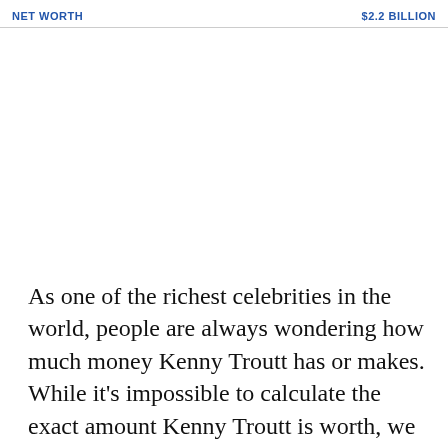NET WORTH    $2.2 BILLION
As one of the richest celebrities in the world, people are always wondering how much money Kenny Troutt has or makes. While it's impossible to calculate the exact amount Kenny Troutt is worth, we can use publicly available information such as